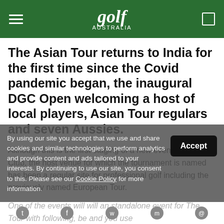golf Australia
The Asian Tour returns to India for the first time since the Covid pandemic began, the inaugural DGC Open welcoming a host of local players, Asian Tour regulars and seven Aussies.
Although this is the first staging of a new event, Delhi Golf Club, the host venue for which the tournament is named has been a regular site for professional golf including the previously named European Tour.
One of the events will will... (partially visible, obscured by cookie overlay)
By using our site you accept that we use and share cookies and similar technologies to perform analytics and provide content and ads tailored to your interests. By continuing to use our site, you consent to this. Please see our Cookie Policy for more information.